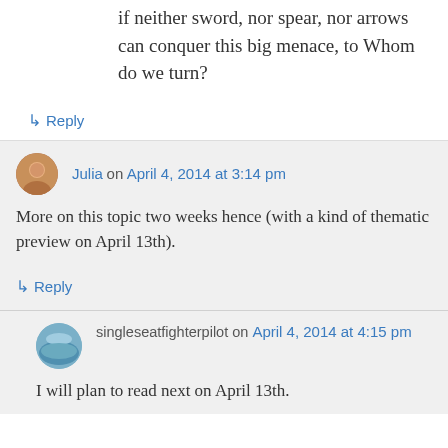if neither sword, nor spear, nor arrows can conquer this big menace, to Whom do we turn?
↳ Reply
Julia on April 4, 2014 at 3:14 pm
More on this topic two weeks hence (with a kind of thematic preview on April 13th).
↳ Reply
singleseatfighterpilot on April 4, 2014 at 4:15 pm
I will plan to read next on April 13th.